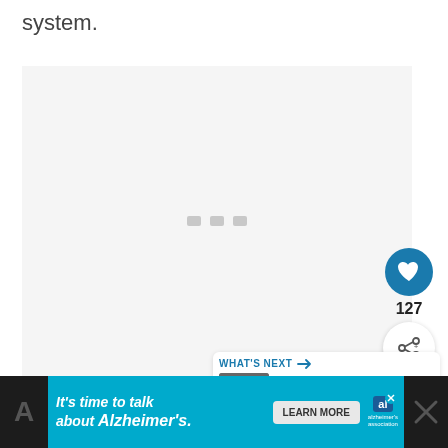system.
[Figure (screenshot): Loading placeholder with three gray dots centered on a light gray background]
[Figure (infographic): Heart/like button (blue circle with white heart icon), count showing 127, share button (white circle with share icon)]
[Figure (infographic): What's Next panel showing '12 Best AV Receivers +...' with a thumbnail image of AV equipment]
[Figure (screenshot): Advertisement banner: It's time to talk about Alzheimer's. LEARN MORE. Alzheimer's association logo.]